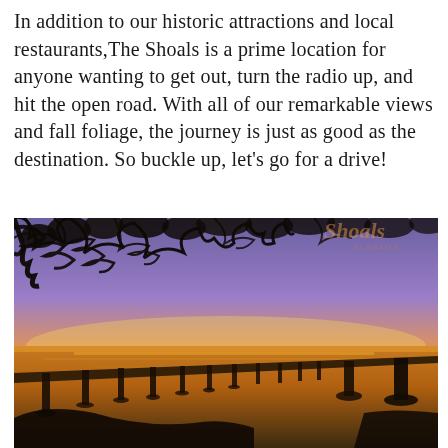In addition to our historic attractions and local restaurants,The Shoals is a prime location for anyone wanting to get out, turn the radio up, and hit the open road. With all of our remarkable views and fall foliage, the journey is just as good as the destination. So buckle up, let's go for a drive!
[Figure (photo): Scenic sunset photo of a long bridge over calm water, framed by dark silhouetted tree branches in the foreground. The sky shows warm orange and purple hues at dusk, with the water reflecting the golden light.]